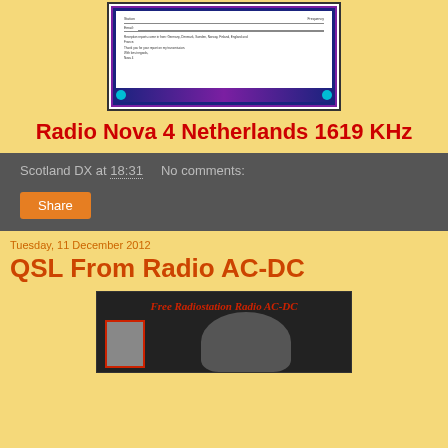[Figure (photo): Partial view of a QSL card with decorative dark blue and purple border, small text content, and teal ornamental corners at bottom]
Radio Nova 4 Netherlands 1619 KHz
Scotland DX at 18:31   No comments:
Share
Tuesday, 11 December 2012
QSL From Radio AC-DC
[Figure (photo): Black and white photo banner for Free Radiostation Radio AC-DC showing text in red italic font, a small portrait photo with red border on left, and a bird silhouette on right side]